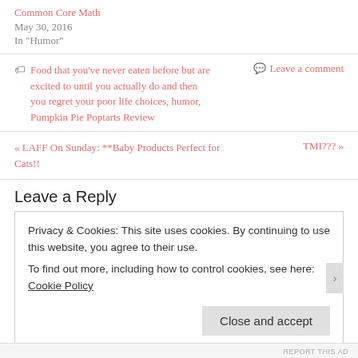Common Core Math
May 30, 2016
In "Humor"
Food that you've never eaten before but are excited to until you actually do and then you regret your poor life choices, humor, Pumpkin Pie Poptarts Review
Leave a comment
« LAFF On Sunday: **Baby Products Perfect for Cats!!
TMI??? »
Leave a Reply
Privacy & Cookies: This site uses cookies. By continuing to use this website, you agree to their use. To find out more, including how to control cookies, see here: Cookie Policy
Close and accept